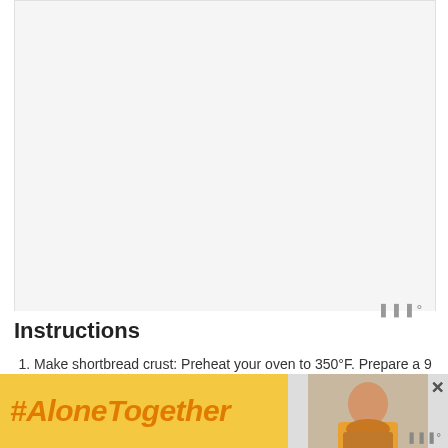[Figure (photo): Large photo area mostly white/light gray, placeholder image of food or recipe content]
Instructions
Make shortbread crust: Preheat your oven to 350°F. Prepare a 9 x 13 in. baking dish with a foil sling (I use one long sheet across the length of my dish, and two overlapping short sheets across the width of my dish —
[Figure (infographic): #AloneTogether advertisement banner with orange italic text and a photo of a woman eating]